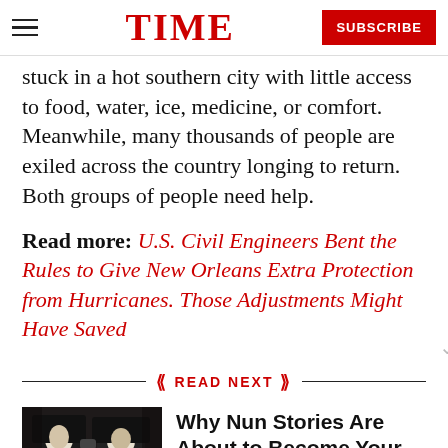TIME | SUBSCRIBE
stuck in a hot southern city with little access to food, water, ice, medicine, or comfort. Meanwhile, many thousands of people are exiled across the country longing to return. Both groups of people need help.
Read more: U.S. Civil Civil Engineers Bent the Rules to Give New Orleans Extra Protection from Hurricanes. Those Adjustments Might Have Saved
READ NEXT
[Figure (photo): Two nuns in black and white habits standing together]
Why Nun Stories Are About to Become Your Next Pop-Culture Obsession